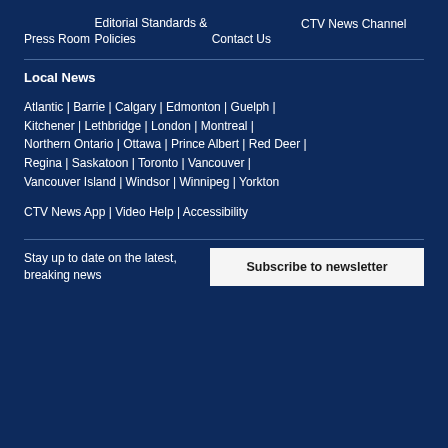Press Room
CTV News Channel
Editorial Standards & Policies
Contact Us
Local News
Atlantic | Barrie | Calgary | Edmonton | Guelph | Kitchener | Lethbridge | London | Montreal | Northern Ontario | Ottawa | Prince Albert | Red Deer | Regina | Saskatoon | Toronto | Vancouver | Vancouver Island | Windsor | Winnipeg | Yorkton
CTV News App | Video Help | Accessibility
Stay up to date on the latest, breaking news
Subscribe to newsletter